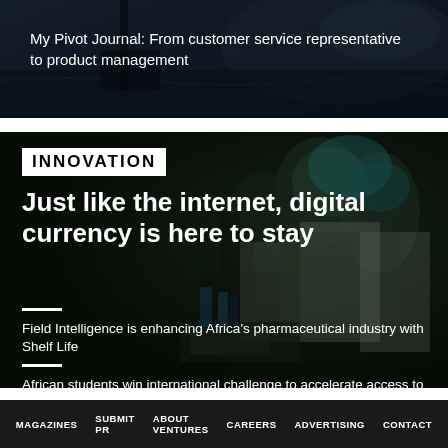My Pivot Journal: From customer service representative to product management
INNOVATION
Just like the internet, digital currency is here to stay
Field Intelligence is enhancing Africa's pharmaceutical industry with Shelf Life
African students win international challenge to accelerate access to universal clean energy
Is Africa doing too much fintech?
MAGAZINES  SUBMIT PR  ABOUT VENTURES  CAREERS  ADVERTISING  CONTACT